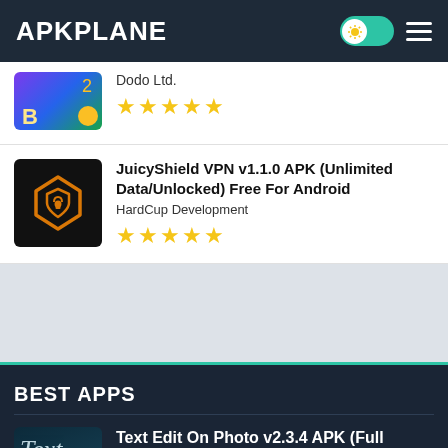APKPLANE
Dodo Ltd. ★★★★★
JuicyShield VPN v1.1.0 APK (Unlimited Data/Unlocked) Free For Android — HardCup Development ★★★★★
BEST APPS
Text Edit On Photo v2.3.4 APK (Full Unlocked/Extra Features) Free For Android — Nail Art & Photo Lab &Game Studio ★★★★★